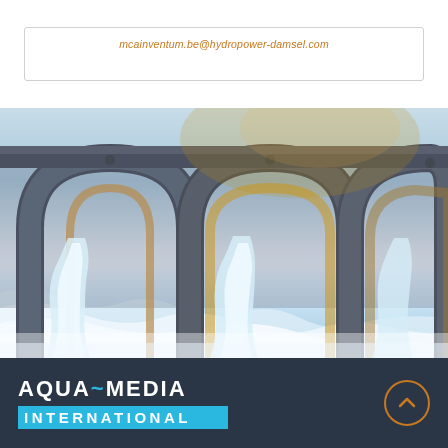mcainventum.be@hydropower-damsel.com
[Figure (photo): Close-up photo of a hydropower dam spillway with water rushing through large concrete arched gates, warm golden light in background]
[Figure (logo): Aqua-Media International logo: stylized text AQUA~MEDIA in white on dark navy background, with INTERNATIONAL on cyan/blue bar below]